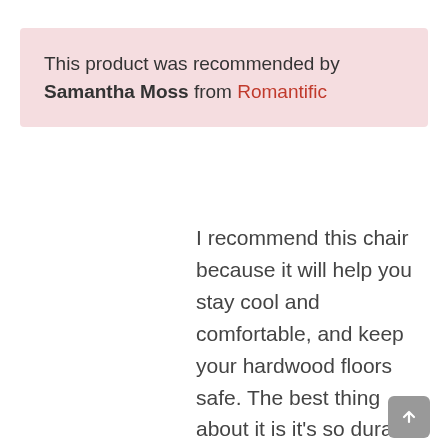This product was recommended by Samantha Moss from Romantific
I recommend this chair because it will help you stay cool and comfortable, and keep your hardwood floors safe. The best thing about it is it's so durable that they offer replacement for the parts that could be